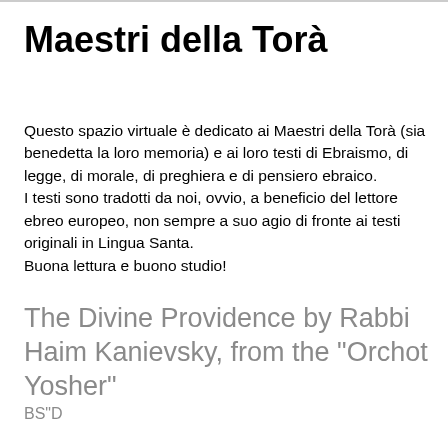Maestri della Torà
Questo spazio virtuale è dedicato ai Maestri della Torà (sia benedetta la loro memoria) e ai loro testi di Ebraismo, di legge, di morale, di preghiera e di pensiero ebraico.
I testi sono tradotti da noi, ovvio, a beneficio del lettore ebreo europeo, non sempre a suo agio di fronte ai testi originali in Lingua Santa.
Buona lettura e buono studio!
The Divine Providence by Rabbi Haim Kanievsky, from the "Orchot Yosher"
BS"D